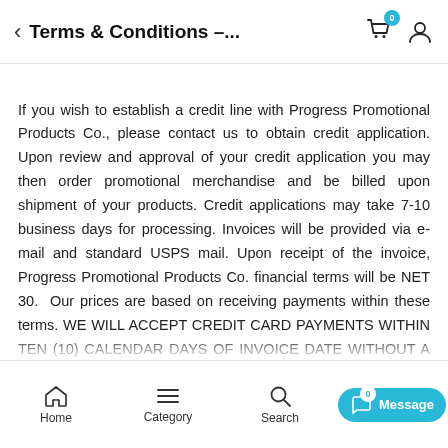Terms & Conditions –...
If you wish to establish a credit line with Progress Promotional Products Co., please contact us to obtain credit application. Upon review and approval of your credit application you may then order promotional merchandise and be billed upon shipment of your products. Credit applications may take 7-10 business days for processing. Invoices will be provided via e-mail and standard USPS mail. Upon receipt of the invoice, Progress Promotional Products Co. financial terms will be NET 30. Our prices are based on receiving payments within these terms. WE WILL ACCEPT CREDIT CARD PAYMENTS WITHIN TEN (10) CALENDAR DAYS OF INVOICE DATE WITHOUT A FEE. ALL CREDIT CARD PAYMENTS MADE AFTER TEN (10) CALENDAR DAYS OF
Home  Category  Search  Message